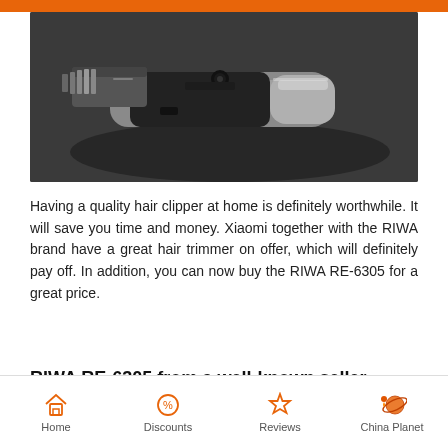[Figure (photo): Hair clipper product photo — black and silver electric hair trimmer/clipper on a dark grey background]
Having a quality hair clipper at home is definitely worthwhile. It will save you time and money. Xiaomi together with the RIWA brand have a great hair trimmer on offer, which will definitely pay off. In addition, you can now buy the RIWA RE-6305 for a great price.
RIWA RE-6305 from a well-known seller
Home | Discounts | Reviews | China Planet